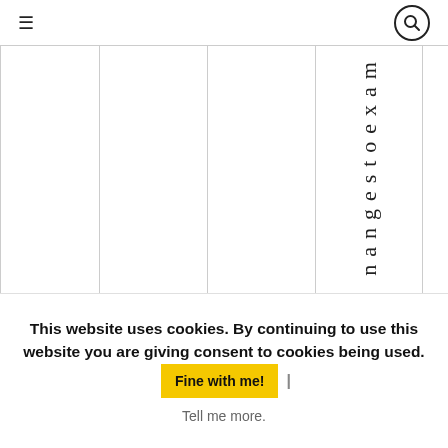Navigation bar with hamburger menu and search icon
This website uses cookies. By continuing to use this website you are giving consent to cookies being used. Fine with me! | Tell me more.